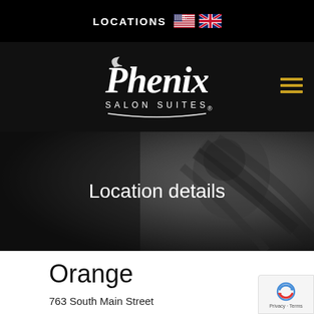LOCATIONS
[Figure (logo): Phenix Salon Suites logo in white script on black background]
[Figure (photo): Black and white photo of a woman with long flowing dark hair, used as hero banner background]
Location details
Orange
763 South Main Street
Orange,   California  92868
Phone: 949-293-7714